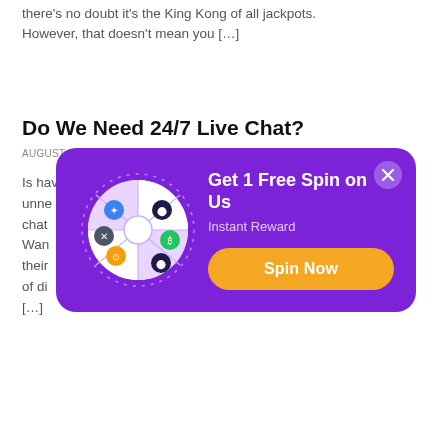there's no doubt it's the King Kong of all jackpots. However, that doesn't mean you [...]
Do We Need 24/7 Live Chat?
AUGUST 28, 2022 BY EDWARD — LEAVE A COMMENT
Is having live chat available around the clock unne... ve chat... ou Wan... their... nds of di... e [...]
[Figure (infographic): Purple modal popup with a spin wheel on the left showing colorful segments with icons, and text 'Get 1 Free Spin on Us', 'Instant Reward', and an orange 'Spin Now' button on the right. A close (X) button in the top right corner.]